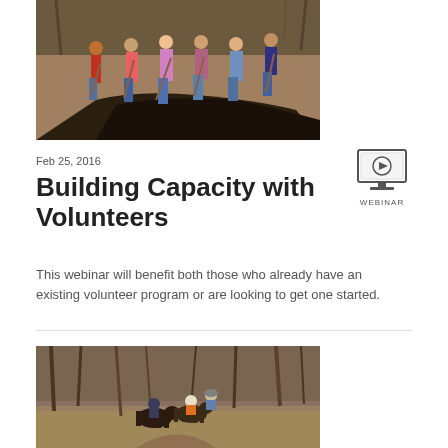[Figure (photo): Volunteers working on a trail, digging and spreading material in a wooded area]
Feb 25, 2016
[Figure (illustration): Webinar icon: computer monitor with play button, labeled WEBINAR]
Building Capacity with Volunteers
This webinar will benefit both those who already have an existing volunteer program or are looking to get one started.
[Figure (photo): Horseback riders on a wooded trail in autumn, one rider wearing an orange vest]